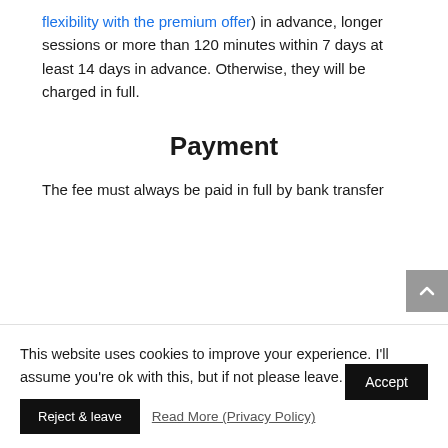flexibility with the premium offer) in advance, longer sessions or more than 120 minutes within 7 days at least 14 days in advance. Otherwise, they will be charged in full.
Payment
The fee must always be paid in full by bank transfer
This website uses cookies to improve your experience. I'll assume you're ok with this, but if not please leave.
Accept
Reject & leave
Read More (Privacy Policy)